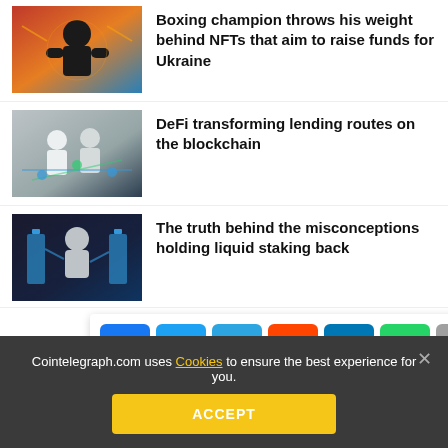[Figure (illustration): Boxing champion superhero illustration for NFT article]
Boxing champion throws his weight behind NFTs that aim to raise funds for Ukraine
[Figure (illustration): DeFi blockchain lending illustration]
DeFi transforming lending routes on the blockchain
[Figure (illustration): Liquid staking misconceptions illustration]
The truth behind the misconceptions holding liquid staking back
[Figure (infographic): Social media share bar with Facebook, Twitter, Telegram, Reddit, LinkedIn, WhatsApp, Copy, and scroll-to-top buttons]
Total crypto market cap reclaims $1 trillion as Bitcoin, Ethereum and altcoins breakout
Cointelegraph.com uses Cookies to ensure the best experience for you.
ACCEPT
Bitcoin lurks by $22K as US dollar falls